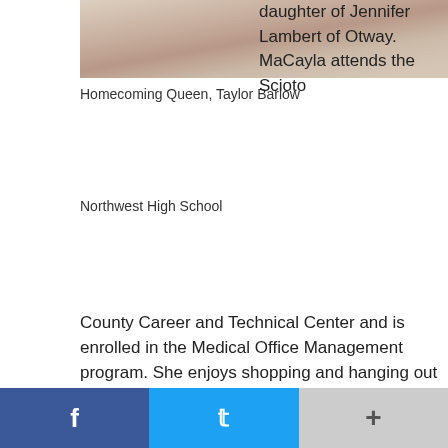[Figure (photo): Photo of Homecoming Queen Taylor Barlow, partial view showing top of head/hair area]
Homecoming Queen, Taylor Barlow
Northwest High School
daughter of Jennifer Lambert of Otway. MaCayla attends the Scioto County Career and Technical Center and is enrolled in the Medical Office Management program. She enjoys shopping and hanging out with her friends and family. Her escort was Dustin Taylor, son of Mark and Amanda Taylor of Rarden.
The Senior attendant was Ally Gordon. Ally is the daughter of Trudy Strickland and Steven Gordon, both of Lucasville. Ally has participated in the Memory Project and is a 4-year member of the mixed choir. Ally's escort was Tyler Webb, son of Darren and Tabby Webb of Otway.
The 2017 Basketball Homecoming Queen was Miss Taylor